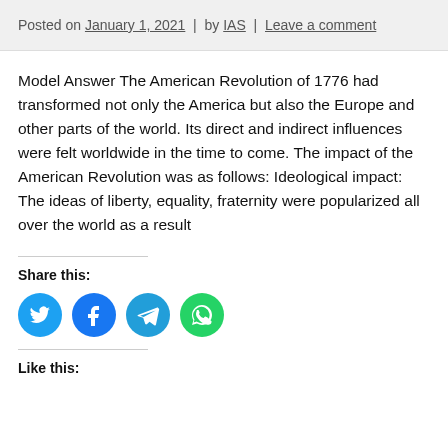Posted on January 1, 2021 | by IAS | Leave a comment
Model Answer The American Revolution of 1776 had transformed not only the America but also the Europe and other parts of the world. Its direct and indirect influences were felt worldwide in the time to come. The impact of the American Revolution was as follows: Ideological impact: The ideas of liberty, equality, fraternity were popularized all over the world as a result
Share this:
[Figure (infographic): Four social share buttons: Twitter (blue), Facebook (blue), Telegram (blue), WhatsApp (green) as circular icon buttons]
Like this: